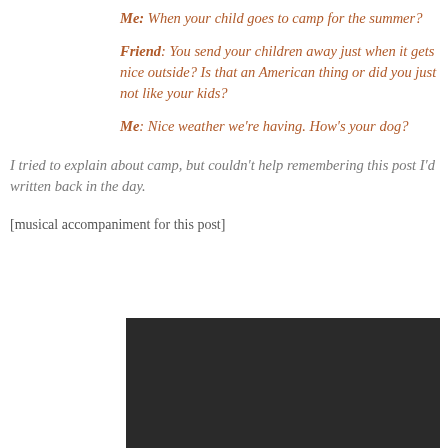Me: When your child goes to camp for the summer?
Friend: You send your children away just when it gets nice outside? Is that an American thing or did you just not like your kids?
Me: Nice weather we're having. How's your dog?
I tried to explain about camp, but couldn't help remembering this post I'd written back in the day.
[musical accompaniment for this post]
[Figure (screenshot): Black/dark video player embed area]